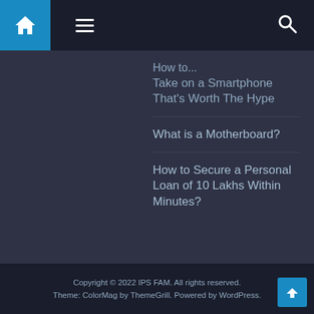[Home icon] [Menu icon] [Search icon]
How to Take on a Smartphone That's Worth The Hype
What is a Motherboard?
How to Secure a Personal Loan of 10 Lakhs Within Minutes?
Copyright © 2022 IPS FAM. All rights reserved. Theme: ColorMag by ThemeGrill. Powered by WordPress.